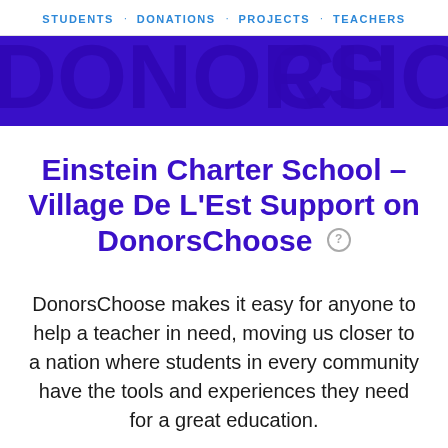STUDENTS · DONATIONS · PROJECTS · TEACHERS
[Figure (illustration): Purple/indigo banner with faint abstract letter/symbol shapes (DonorsChoose logo pattern) in darker purple]
Einstein Charter School – Village De L'Est Support on DonorsChoose
DonorsChoose makes it easy for anyone to help a teacher in need, moving us closer to a nation where students in every community have the tools and experiences they need for a great education.